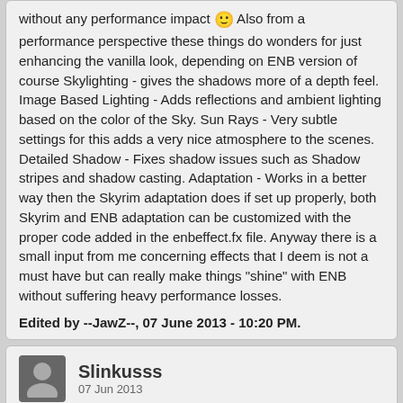without any performance impact 🙂 Also from a performance perspective these things do wonders for just enhancing the vanilla look, depending on ENB version of course Skylighting - gives the shadows more of a depth feel. Image Based Lighting - Adds reflections and ambient lighting based on the color of the Sky. Sun Rays - Very subtle settings for this adds a very nice atmosphere to the scenes. Detailed Shadow - Fixes shadow issues such as Shadow stripes and shadow casting. Adaptation - Works in a better way then the Skyrim adaptation does if set up properly, both Skyrim and ENB adaptation can be customized with the proper code added in the enbeffect.fx file. Anyway there is a small input from me concerning effects that I deem is not a must have but can really make things "shine" with ENB without suffering heavy performance losses.
Edited by --JawZ--, 07 June 2013 - 10:20 PM.
Slinkusss
07 Jun 2013
Gosh Gopher you really are a hardworking, diligent and thorough contributor to the Skyrim community.
I was just wanting to look into ENBs.